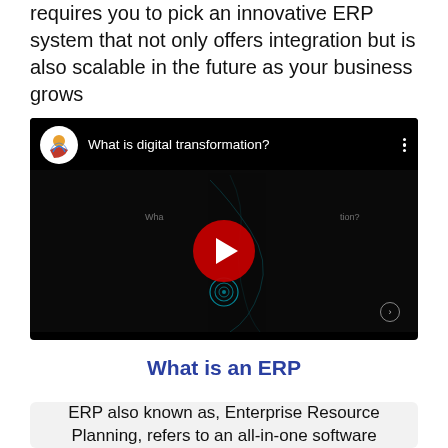requires you to pick an innovative ERP system that not only offers integration but is also scalable in the future as your business grows
[Figure (screenshot): YouTube video embed with title 'What is digital transformation?' showing a dark thumbnail with a red play button, a channel logo on the left, and three-dot menu on the right]
What is an ERP
ERP also known as, Enterprise Resource Planning, refers to an all-in-one software